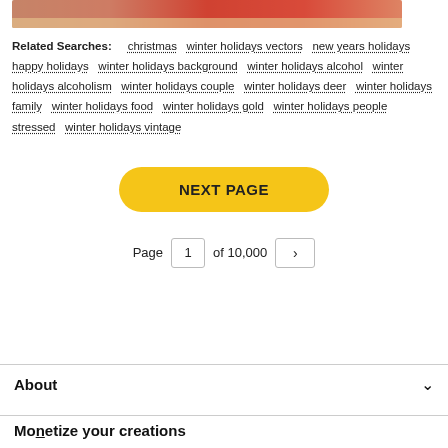[Figure (photo): Partial image strip showing a person in red clothing against a light background]
Related Searches: christmas  winter holidays vectors  new years holidays  happy holidays  winter holidays background  winter holidays alcohol  winter holidays alcoholism  winter holidays couple  winter holidays deer  winter holidays family  winter holidays food  winter holidays gold  winter holidays people stressed  winter holidays vintage
NEXT PAGE
Page 1 of 10,000 >
About
Monetize your creations